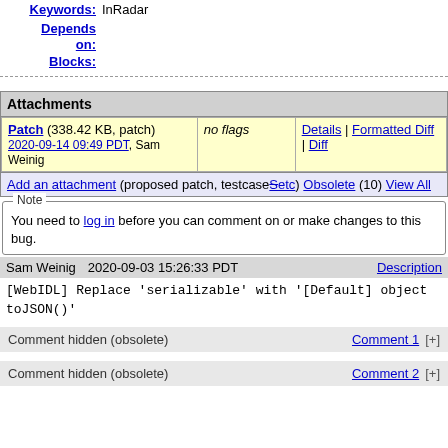Keywords: InRadar
Depends on:
Blocks:
| Attachments |  |  |
| --- | --- | --- |
| Patch (338.42 KB, patch) 2020-09-14 09:49 PDT, Sam Weinig | no flags | Details | Formatted Diff | Diff |
| Add an attachment (proposed patch, testcase, etc.) Obsolete (10) View All |  |  |
Note
You need to log in before you can comment on or make changes to this bug.
Sam Weinig    2020-09-03 15:26:33 PDT    Description
[WebIDL] Replace 'serializable' with '[Default] object toJSON()'
Comment hidden (obsolete)    Comment 1    [+]
Comment hidden (obsolete)    Comment 2    [+]